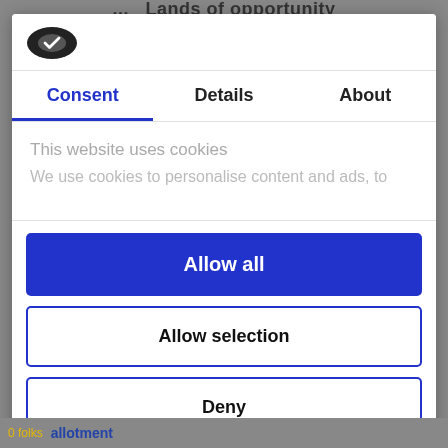Lands of opportunity
[Figure (logo): Cookiebot/Usercentrics logo - dark oval badge with checkmark]
Consent | Details | About
This website uses cookies
We use cookies to personalise content and ads, to
Allow all
Allow selection
Deny
Powered by Cookiebot by Usercentrics
0 folks  allotment